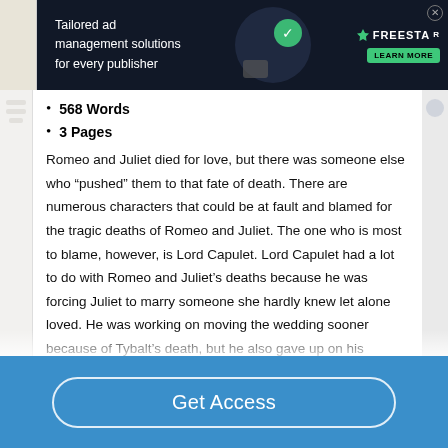[Figure (screenshot): Advertisement banner: Freestar ad for tailored ad management solutions for every publisher, with Learn More button, dark background with decorative graphics]
568 Words
3 Pages
Romeo and Juliet died for love, but there was someone else who “pushed” them to that fate of death. There are numerous characters that could be at fault and blamed for the tragic deaths of Romeo and Juliet. The one who is most to blame, however, is Lord Capulet. Lord Capulet had a lot to do with Romeo and Juliet’s deaths because he was forcing Juliet to marry someone she hardly knew let alone loved. He was working on moving the wedding sooner because of Tybalt’s death, but he also gave up on his daughter when everyone thought she was dead.
Get Access